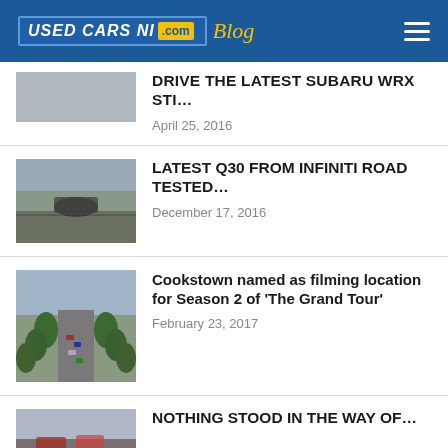USED CARS NI .com Blog
DRIVE THE LATEST SUBARU WRX STI…
April 25, 2016
[Figure (photo): Car driving through sandy dunes landscape]
LATEST Q30 FROM INFINITI ROAD TESTED…
December 17, 2016
[Figure (photo): Aerial view of Cookstown town with cars on main street lined with trees]
Cookstown named as filming location for Season 2 of 'The Grand Tour'
February 23, 2017
[Figure (photo): Cars at a racing event with cloudy sky]
NOTHING STOOD IN THE WAY OF…